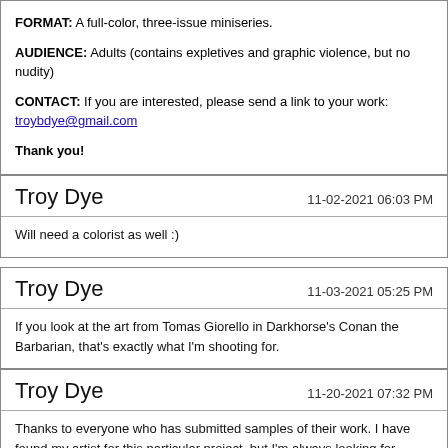FORMAT: A full-color, three-issue miniseries.

AUDIENCE: Adults (contains expletives and graphic violence, but no nudity)

CONTACT: If you are interested, please send a link to your work: troybdye@gmail.com

Thank you!
Troy Dye  11-02-2021 06:03 PM
Will need a colorist as well :)
Troy Dye  11-03-2021 05:25 PM
If you look at the art from Tomas Giorello in Darkhorse's Conan the Barbarian, that's exactly what I'm shooting for.
Troy Dye  11-20-2021 07:32 PM
Thanks to everyone who has submitted samples of their work. I have found my artist for this particular project, but I'm always looking for potential collaborators for future projects. There are quite a few.